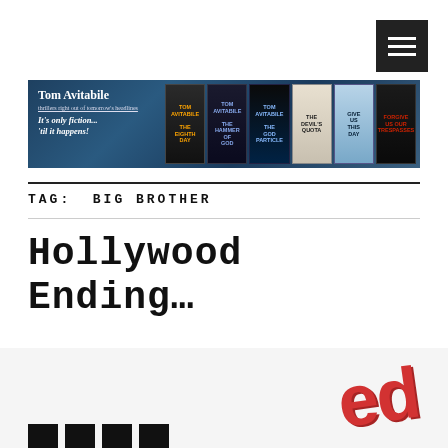[Figure (other): Hamburger menu icon button, dark/black square with three white horizontal lines]
[Figure (illustration): Banner for Tom Avitabile author website. Left side shows author name 'Tom Avitabile' with tagline 'thrillers right out of tomorrow's headlines' and 'It's only fiction... til it happens!' on dark blue textured background. Right side shows six book covers: The Eighth Day, The Hammer of God, The God Particle, The Devil's Quota, Give Us This Day, Forgive Us Our Trespasses.]
TAG:  BIG BROTHER
Hollywood Ending…
[Figure (illustration): Partial view of a book cover or graphic showing large red distressed stamp-style text 'ed' in the lower right, and black rectangular bar elements in the lower left, consistent with a 'Hollywood Ending' book cover partially cropped.]